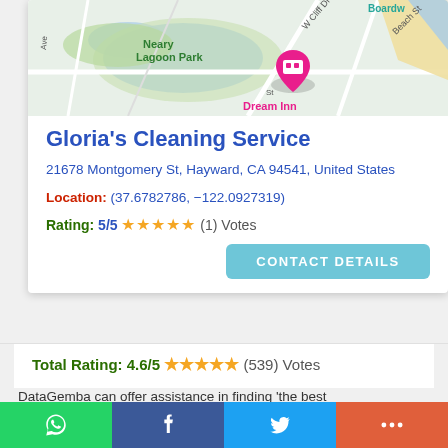[Figure (map): Google Maps view showing Neary Lagoon Park area near Santa Cruz with Dream Inn marker visible]
Gloria's Cleaning Service
21678 Montgomery St, Hayward, CA 94541, United States
Location: (37.6782786, -122.0927319)
Rating: 5/5 ★★★★★ (1) Votes
CONTACT DETAILS
Total Rating: 4.6/5 ★★★★★ (539) Votes
DataGemba can offer assistance in finding 'the best